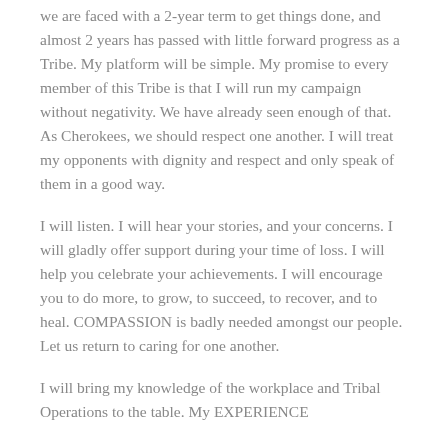we are faced with a 2-year term to get things done, and almost 2 years has passed with little forward progress as a Tribe. My platform will be simple. My promise to every member of this Tribe is that I will run my campaign without negativity. We have already seen enough of that. As Cherokees, we should respect one another. I will treat my opponents with dignity and respect and only speak of them in a good way.
I will listen. I will hear your stories, and your concerns. I will gladly offer support during your time of loss. I will help you celebrate your achievements. I will encourage you to do more, to grow, to succeed, to recover, and to heal. COMPASSION is badly needed amongst our people. Let us return to caring for one another.
I will bring my knowledge of the workplace and Tribal Operations to the table. My EXPERIENCE